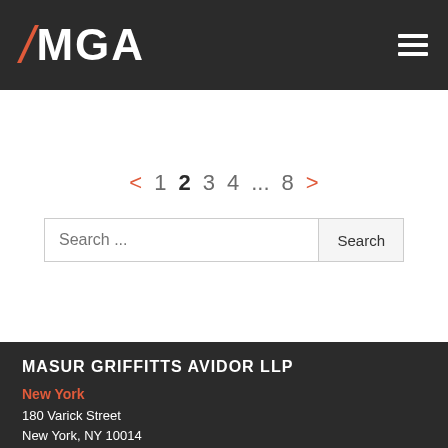/MGA
< 1 2 3 4 ... 8 >
[Figure (screenshot): Search input field with placeholder 'Search ...' and a Search button]
MASUR GRIFFITTS AVIDOR LLP
New York
180 Varick Street
New York, NY 10014